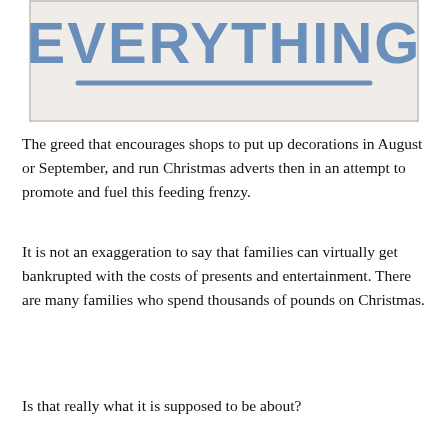[Figure (photo): A handwritten sign on white paper with the word 'EVERYTHING' written in large blue letters, with a blue horizontal underline beneath it. The sign is photographed against a wooden surface.]
The greed that encourages shops to put up decorations in August or September, and run Christmas adverts then in an attempt to promote and fuel this feeding frenzy.
It is not an exaggeration to say that families can virtually get bankrupted with the costs of presents and entertainment. There are many families who spend thousands of pounds on Christmas.
Is that really what it is supposed to be about?